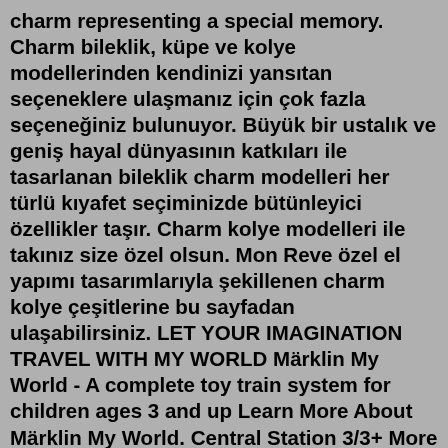charm representing a special memory. Charm bileklik, küpe ve kolye modellerinden kendinizi yansıtan seçeneklere ulaşmanız için çok fazla seçeneğiniz bulunuyor. Büyük bir ustalık ve geniş hayal dünyasının katkıları ile tasarlanan bileklik charm modelleri her türlü kıyafet seçiminizde bütünleyici özellikler taşır. Charm kolye modelleri ile takınız size özel olsun. Mon Reve özel el yapımı tasarımlarıyla şekillenen charm kolye çeşitlerine bu sayfadan ulaşabilirsiniz. LET YOUR IMAGINATION TRAVEL WITH MY WORLD Märklin My World - A complete toy train system for children ages 3 and up Learn More About Märklin My World. Central Station 3/3+ More information about the CS3. Announcing the 2nd Club Model of 2022 Order Deadline: August, 15, 2022 Discover Now.Trend Tesettür Muhafazakar Kadın Giyim. Kadınlara özel Tesettür Giyim, aksesuar ve moda alışveriş sitesi olan TrendTesettur.com, muhafazakar giyimde modern bir tarzı benimsemiş tesettür giyimi sunilmektadır ve hizmetinizdedir. TrendTesetturde